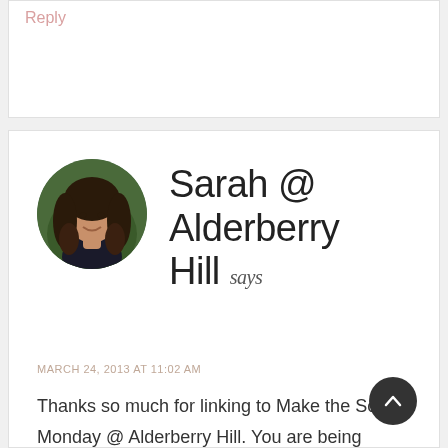Reply
[Figure (photo): Circular avatar photo of a woman with long wavy brown hair]
Sarah @ Alderberry Hill says
MARCH 24, 2013 AT 11:02 AM
Thanks so much for linking to Make the Scene Monday @ Alderberry Hill. You are being featured later today!